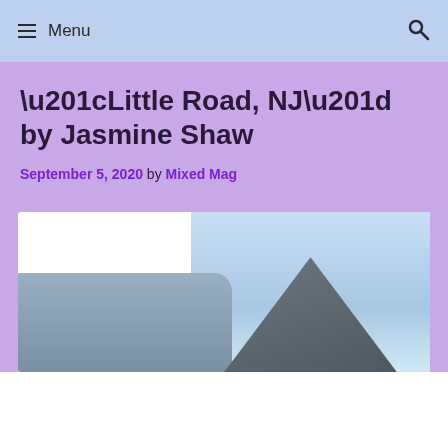Menu
“Little Road, NJ” by Jasmine Shaw
September 5, 2020 by Mixed Mag
[Figure (photo): Partially visible landscape photo showing sky and mountains]